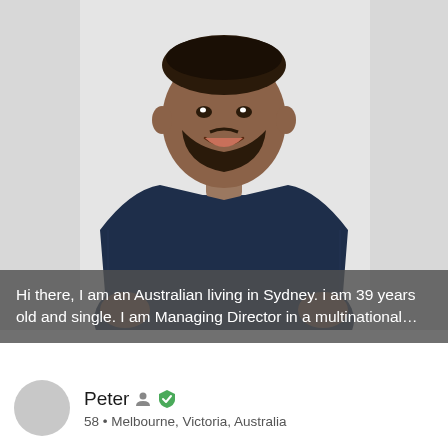[Figure (photo): Professional headshot of a smiling man in a navy blue plaid blazer and white dress shirt, standing against a white background with hands in pockets.]
Hi there, I am an Australian living in Sydney. i am 39 years old and single. I am Managing Director in a multinational…
Peter  58 • Melbourne, Victoria, Australia